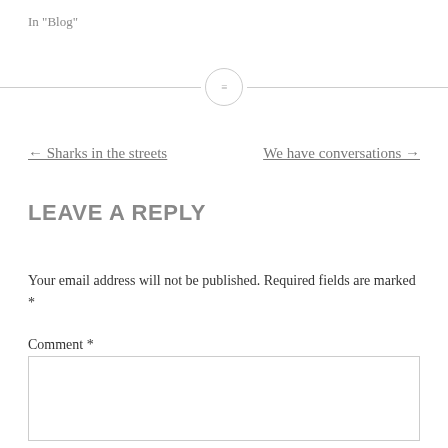In "Blog"
[Figure (illustration): Horizontal divider line with a small circle icon in the center containing three horizontal lines (hamburger/menu icon)]
← Sharks in the streets    We have conversations →
LEAVE A REPLY
Your email address will not be published. Required fields are marked *
Comment *